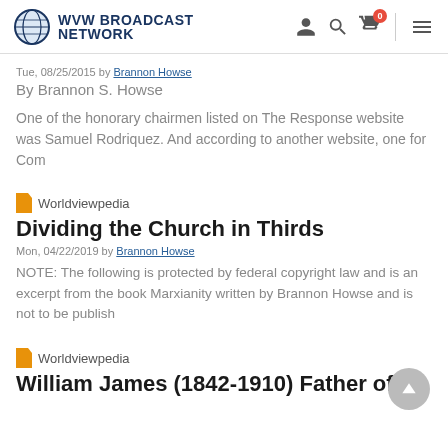WVW BROADCAST NETWORK
Tue, 08/25/2015 by Brannon Howse
By Brannon S. Howse
One of the honorary chairmen listed on The Response website was Samuel Rodriquez. And according to another website, one for Com
Worldviewpedia
Dividing the Church in Thirds
Mon, 04/22/2019 by Brannon Howse
NOTE: The following is protected by federal copyright law and is an excerpt from the book Marxianity written by Brannon Howse and is not to be publish
Worldviewpedia
William James (1842-1910) Father of